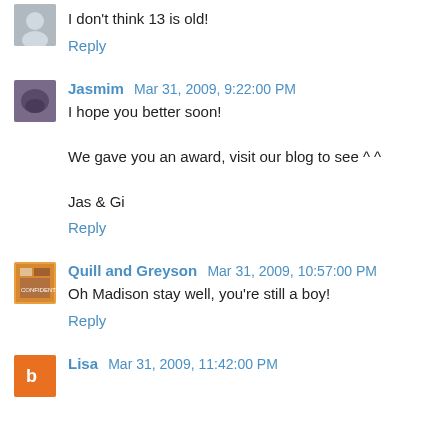I don't think 13 is old!
Reply
Jasmim Mar 31, 2009, 9:22:00 PM
I hope you better soon!

We gave you an award, visit our blog to see ^ ^

Jas & Gi
Reply
Quill and Greyson Mar 31, 2009, 10:57:00 PM
Oh Madison stay well, you're still a boy!
Reply
Lisa Mar 31, 2009, 11:42:00 PM